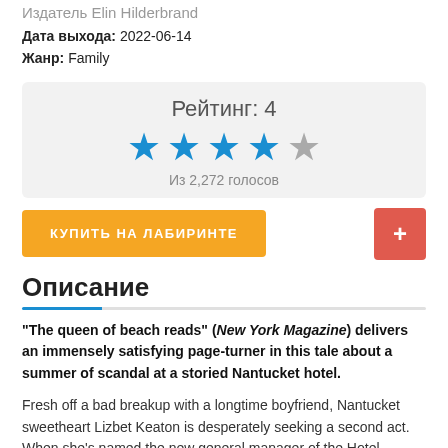Издатель Elin Hilderbrand
Дата выхода: 2022-06-14
Жанр: Family
[Figure (other): Rating box showing Рейтинг: 4 with 4 filled blue stars and 1 grey star, Из 2,272 голосов]
КУПИТЬ НА ЛАБИРИНТЕ
Описание
"The queen of beach reads" (New York Magazine) delivers an immensely satisfying page-turner in this tale about a summer of scandal at a storied Nantucket hotel.
Fresh off a bad breakup with a longtime boyfriend, Nantucket sweetheart Lizbet Keaton is desperately seeking a second act. When she's named the new general manager of the Hotel